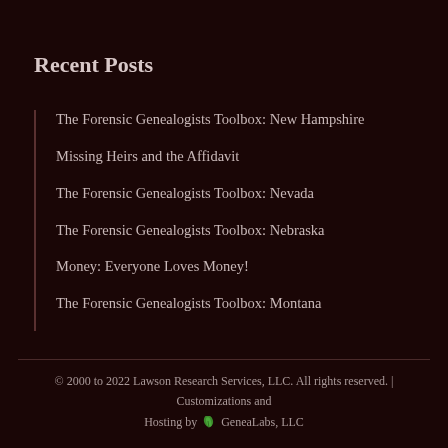Recent Posts
The Forensic Genealogists Toolbox: New Hampshire
Missing Heirs and the Affidavit
The Forensic Genealogists Toolbox: Nevada
The Forensic Genealogists Toolbox: Nebraska
Money: Everyone Loves Money!
The Forensic Genealogists Toolbox: Montana
© 2000 to 2022 Lawson Research Services, LLC. All rights reserved. | Customizations and Hosting by GeneaLabs, LLC